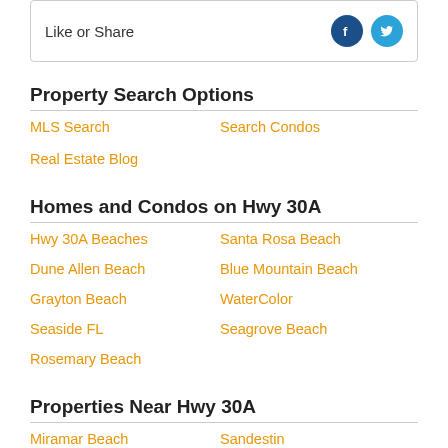Like or Share
Property Search Options
MLS Search
Search Condos
Real Estate Blog
Homes and Condos on Hwy 30A
Hwy 30A Beaches
Santa Rosa Beach
Dune Allen Beach
Blue Mountain Beach
Grayton Beach
WaterColor
Seaside FL
Seagrove Beach
Rosemary Beach
Properties Near Hwy 30A
Miramar Beach
Sandestin